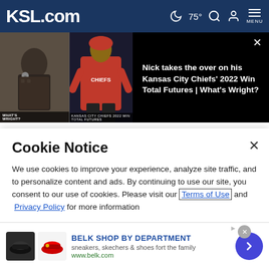KSL.com  75°  MENU
[Figure (screenshot): Video thumbnail showing two people and Kansas City Chiefs player in red, with text overlay 'Nick takes the over on his Kansas City Chiefs' 2022 Win Total Futures | What's Wright?']
1. High school football: Week 4 scores and schedule
2. Utah confirms this year's first human case of West Nile virus; man hospitalized
Cookie Notice
We use cookies to improve your experience, analyze site traffic, and to personalize content and ads. By continuing to use our site, you consent to our use of cookies. Please visit our Terms of Use and Privacy Policy for more information
[Figure (screenshot): Belk advertisement showing sneakers/shoes with text 'BELK SHOP BY DEPARTMENT', 'sneakers, skechers & shoes fort the family', 'www.belk.com']